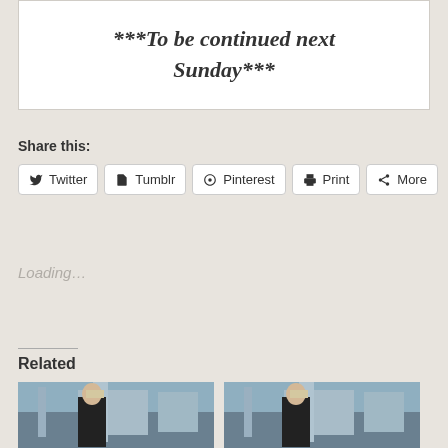***To be continued next Sunday***
Share this:
Twitter  Tumblr  Pinterest  Print  More
Loading…
Related
[Figure (photo): Two thumbnail photos of a blonde woman wearing sunglasses in a dark jacket standing in front of a gothic cathedral (Florence Duomo)]